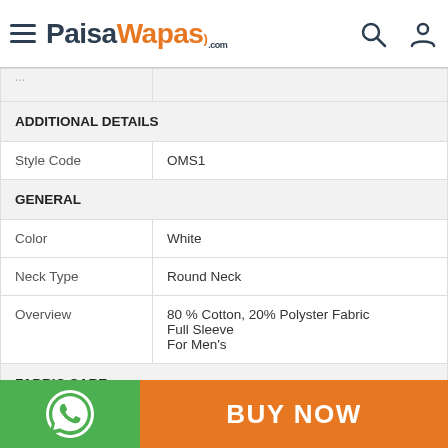PaisaWapas.com
| ADDITIONAL DETAILS |  |
| Style Code | OMS1 |
| GENERAL |  |
| Color | White |
| Neck Type | Round Neck |
| Overview | 80 % Cotton, 20% Polyster Fabric
Full Sleeve
For Men's |
| FABRIC CARE |  |
|  | Regular Machine Wash, Slight Color May... |